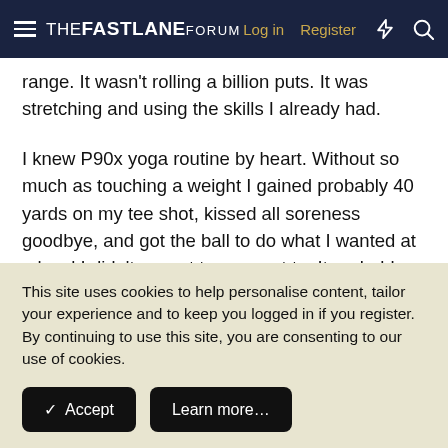THE FASTLANE FORUM — Log in | Register
range. It wasn't rolling a billion puts. It was stretching and using the skills I already had.

I knew P90x yoga routine by heart. Without so much as touching a weight I gained probably 40 yards on my tee shot, kissed all soreness goodbye, and got the ball to do what I wanted at a level I didn't expect to ever get to. It probably made me good enough to play the mini tour stuff.

I know how well this works, but for whatever reason… It just
This site uses cookies to help personalise content, tailor your experience and to keep you logged in if you register.
By continuing to use this site, you are consenting to our use of cookies.
Accept
Learn more...